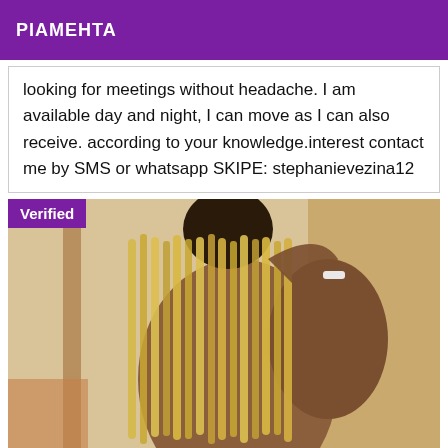PIAMEHTA
looking for meetings without headache. I am available day and night, I can move as I can also receive. according to your knowledge.interest contact me by SMS or whatsapp SKIPE: stephanievezina12
[Figure (photo): Photo of a person with long blonde braided hair, viewed from behind, with a 'Verified' badge overlay in purple]